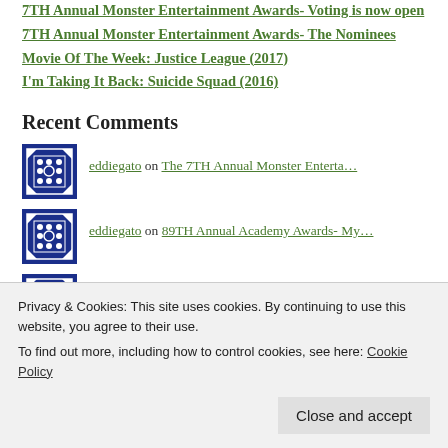7TH Annual Monster Entertainment Awards- Voting is now open
7TH Annual Monster Entertainment Awards- The Nominees
Movie Of The Week: Justice League (2017)
I'm Taking It Back: Suicide Squad (2016)
Recent Comments
eddiegato on The 7TH Annual Monster Enterta…
eddiegato on 89TH Annual Academy Awards- My…
eddiegato on 89TH Annual Academy Awards- My…
eddiegato on Day 94: Kull The Conqueror (19…
Privacy & Cookies: This site uses cookies. By continuing to use this website, you agree to their use. To find out more, including how to control cookies, see here: Cookie Policy